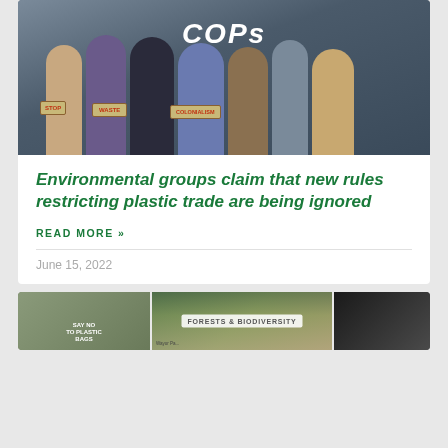[Figure (photo): Group of people standing in front of a COPs conference sign, holding protest signs reading STOP, WASTE, COLONIALISM]
Environmental groups claim that new rules restricting plastic trade are being ignored
READ MORE »
June 15, 2022
[Figure (photo): Bottom strip of three images: protest with Say No To Plastic Bags sign, a map showing forests, and a dark photo; with FORESTS & BIODIVERSITY tag badge]